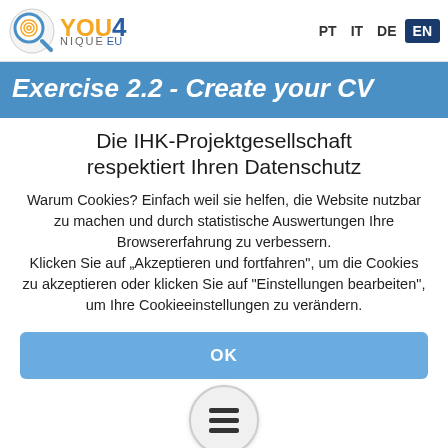YOU4NIQUE EU — PT IT DE EN
Exercise 2.2 - Create your CV
Die IHK-Projektgesellschaft respektiert Ihren Datenschutz
Warum Cookies? Einfach weil sie helfen, die Website nutzbar zu machen und durch statistische Auswertungen Ihre Browsererfahrung zu verbessern. Klicken Sie auf „Akzeptieren und fortfahren", um die Cookies zu akzeptieren oder klicken Sie auf "Einstellungen bearbeiten", um Ihre Cookieeinstellungen zu verändern.
OK
EINSTELLUNGEN BEARBEITEN